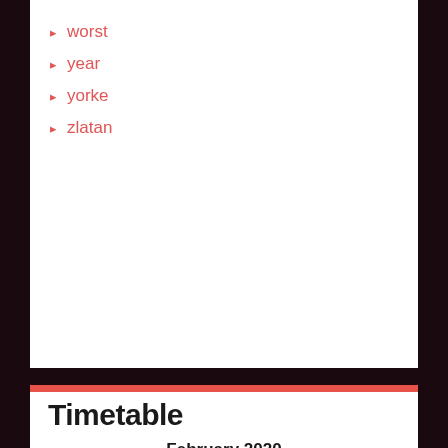worst
year
yorke
zlatan
Timetable
| M | T | W | T | F | S | S |
| --- | --- | --- | --- | --- | --- | --- |
|  |  |  |  |  | 1 | 2 |
| 3 | 4 | 5 | 6 | 7 | 8 | 9 |
| 10 | 11 | 12 | 13 | 14 | 15 | 16 |
| 17 | 18 | 19 | 20 | 21 | 22 | 23 |